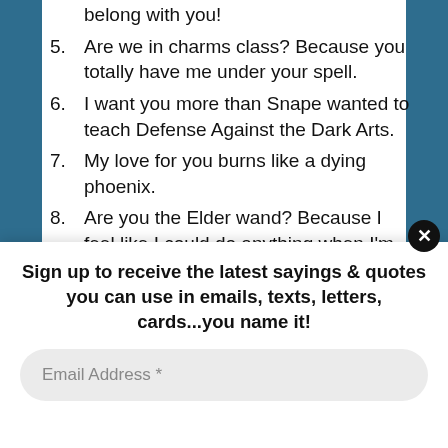belong with you!
5. Are we in charms class? Because you totally have me under your spell.
6. I want you more than Snape wanted to teach Defense Against the Dark Arts.
7. My love for you burns like a dying phoenix.
8. Are you the Elder wand? Because I feel like I could do anything when I’m with you.
9. I’ve searched all the prophecies in the department of mysteries and all of them...
Sign up to receive the latest sayings & quotes you can use in emails, texts, letters, cards...you name it!
Email Address *